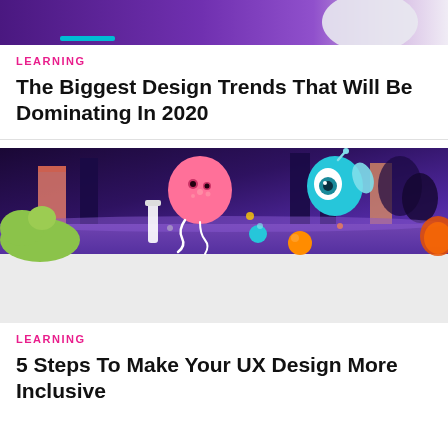[Figure (illustration): Top portion of a design trends article hero image with purple gradient background]
LEARNING
The Biggest Design Trends That Will Be Dominating In 2020
[Figure (illustration): Colorful illustrated scene with purple/dark background showing cartoon characters including a pink jellyfish-like creature and a teal character with big eyes, on a purple landscape. Bottom portion has light gray background placeholder.]
LEARNING
5 Steps To Make Your UX Design More Inclusive